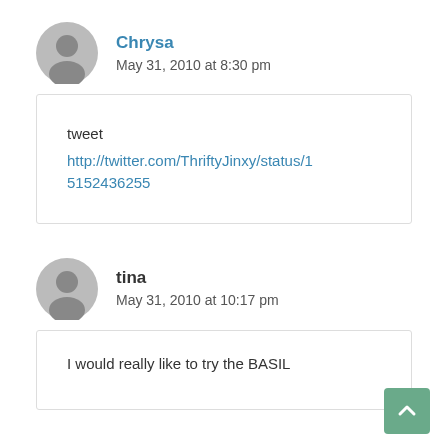Chrysa
May 31, 2010 at 8:30 pm
tweet
http://twitter.com/ThriftyJinxy/status/15152436255
tina
May 31, 2010 at 10:17 pm
I would really like to try the BASIL